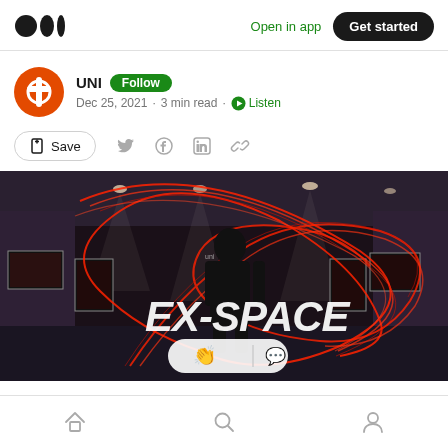Medium app header with logo, Open in app, Get started
UNI  Follow
Dec 25, 2021 · 3 min read · Listen
Save (bookmark icon, Twitter, Facebook, LinkedIn, Link icons)
[Figure (photo): Article hero image showing a dark gallery/exhibition space with red light trail spirals and the text 'EX-SPACE' overlaid, with reaction icons (clap and comment) at the bottom center]
Bottom navigation bar with Home, Search, and Profile icons